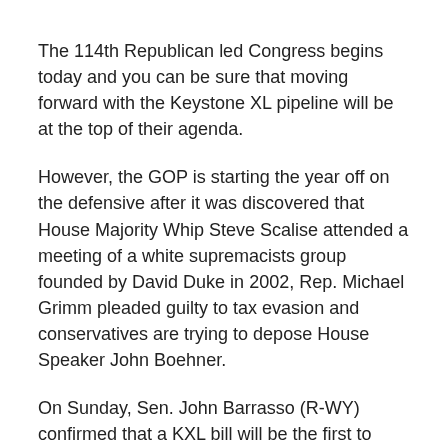The 114th Republican led Congress begins today and you can be sure that moving forward with the Keystone XL pipeline will be at the top of their agenda.
However, the GOP is starting the year off on the defensive after it was discovered that House Majority Whip Steve Scalise attended a meeting of a white supremacists group founded by David Duke in 2002, Rep. Michael Grimm pleaded guilty to tax evasion and conservatives are trying to depose House Speaker John Boehner.
On Sunday, Sen. John Barrasso (R-WY) confirmed that a KXL bill will be the first to reach Obama's desk in 2015.
It may not be as easy to advance the KXL as some had hoped. Republicans appear unlikely to secure enough